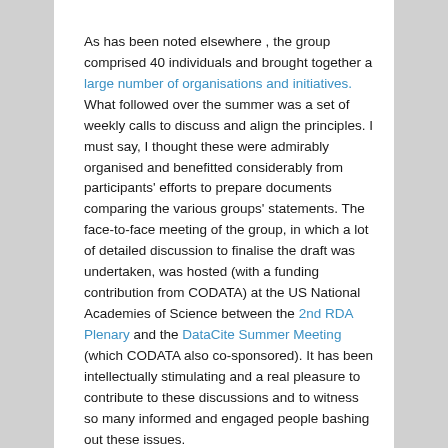As has been noted elsewhere , the group comprised 40 individuals and brought together a large number of organisations and initiatives. What followed over the summer was a set of weekly calls to discuss and align the principles. I must say, I thought these were admirably organised and benefitted considerably from participants' efforts to prepare documents comparing the various groups' statements. The face-to-face meeting of the group, in which a lot of detailed discussion to finalise the draft was undertaken, was hosted (with a funding contribution from CODATA) at the US National Academies of Science between the 2nd RDA Plenary and the DataCite Summer Meeting (which CODATA also co-sponsored). It has been intellectually stimulating and a real pleasure to contribute to these discussions and to witness so many informed and engaged people bashing out these issues.
The principles developed by the Synthesis Group are